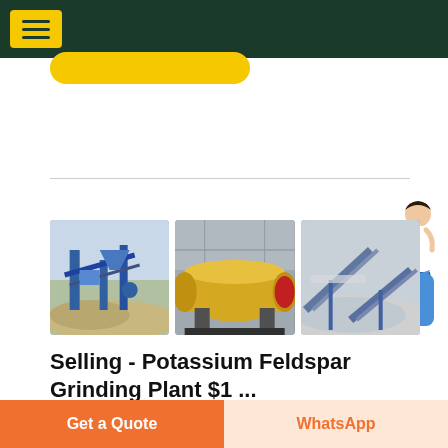Navigation header with menu icon
[Figure (photo): Three industrial equipment photos: (1) blue crushing/screening plant with aggregate piles, (2) large yellow ball mill in factory, (3) grey conveyor belt system with sand/mineral material]
Selling - Potassium Feldspar Grinding Plant $1 ...
Potassium Feldspar Grinding Plant $1 – Zhengzhou
Get a Quote | WhatsApp